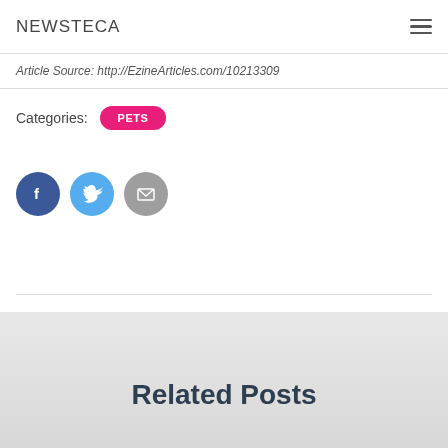NEWSTECA
Article Source: http://EzineArticles.com/10213309
Categories:  PETS
[Figure (infographic): Social share buttons: Facebook (dark blue circle with f), Twitter (light blue circle with bird), Email (gray circle with envelope icon)]
Related Posts